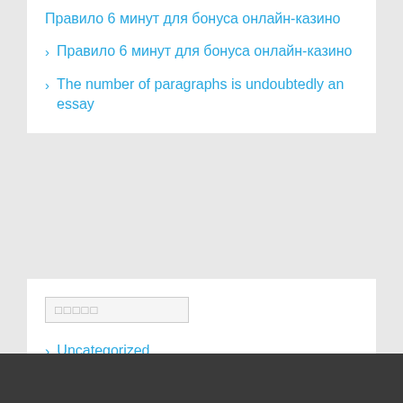Правило 6 минут для бонуса онлайн-казино
Правило 6 минут для бонуса онлайн-казино
The number of paragraphs is undoubtedly an essay
□□□□□
Uncategorized
□□□